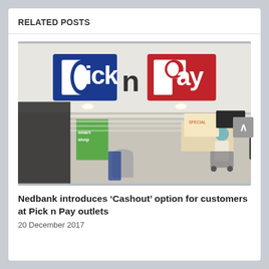RELATED POSTS
[Figure (photo): Exterior and interior view of a Pick n Pay supermarket store, showing the large Pick n Pay logo signage (blue and red) at the top, and customers shopping inside the store with product displays and checkout areas visible.]
Nedbank introduces ‘Cashout’ option for customers at Pick n Pay outlets
20 December 2017